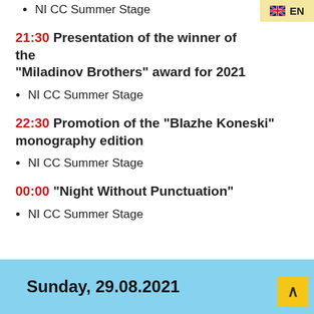NI CC Summer Stage
21:30 Presentation of the winner of the "Miladinov Brothers" award for 2021
NI CC Summer Stage
22:30 Promotion of the "Blazhe Koneski" monography edition
NI CC Summer Stage
00:00 "Night Without Punctuation"
NI CC Summer Stage
Sunday, 29.08.2021